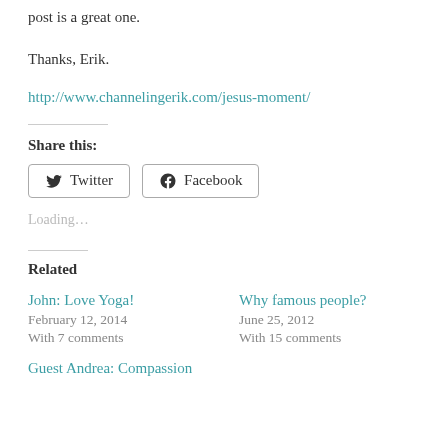post is a great one.
Thanks, Erik.
http://www.channelingerik.com/jesus-moment/
Share this:
Loading...
Related
John: Love Yoga!
February 12, 2014
With 7 comments
Why famous people?
June 25, 2012
With 15 comments
Guest Andrea: Compassion